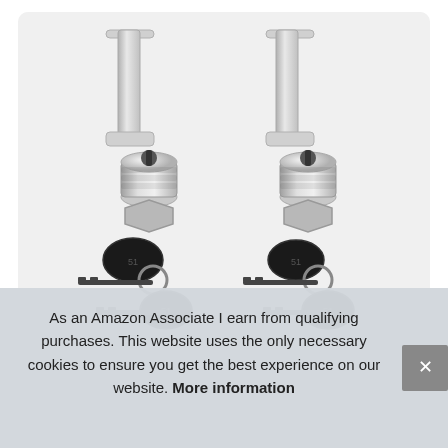[Figure (photo): Two chrome cam locks with black keys on a white/light grey background, shown side by side. Each lock has a silver cylindrical barrel with threaded nut, a flat mounting bracket at top, and two black plastic-headed keys on a metal keyring.]
As an Amazon Associate I earn from qualifying purchases. This website uses the only necessary cookies to ensure you get the best experience on our website. More information